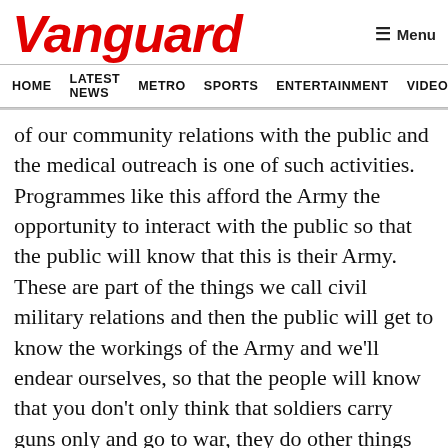Vanguard
HOME  LATEST NEWS  METRO  SPORTS  ENTERTAINMENT  VIDEOS
of our community relations with the public and the medical outreach is one of such activities. Programmes like this afford the Army the opportunity to interact with the public so that the public will know that this is their Army. These are part of the things we call civil military relations and then the public will get to know the workings of the Army and we’ll  endear ourselves, so that the people will know that you don’t only think that soldiers carry guns only and go to war, they do other things that are human related.”